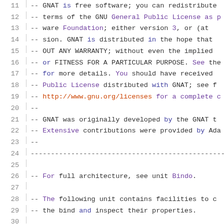Source code listing showing Ada/GNAT license comment block, lines 11-31
11  -- GNAT is free software;  you can  redistribute
12  -- terms of the  GNU General Public License as p
13  -- ware  Foundation;  either version 3,  or (at
14  -- sion.  GNAT is distributed in the hope that
15  -- OUT ANY WARRANTY;  without even the  implied
16  -- or FITNESS FOR A PARTICULAR PURPOSE.  See the
17  -- for  more details.  You should have  received
18  -- Public License  distributed with GNAT; see f
19  -- http://www.gnu.org/licenses for a complete c
20  --
21  -- GNAT was originally developed  by the GNAT t
22  -- Extensive contributions were provided by Ada
23  --
24  --------------------------------------------------------
25
26  --  For full architecture, see unit Bindo.
27
28  --  The following unit contains facilities to c
29  --  the bind and inspect their properties.
30
31  with GNAT;      use GNAT;